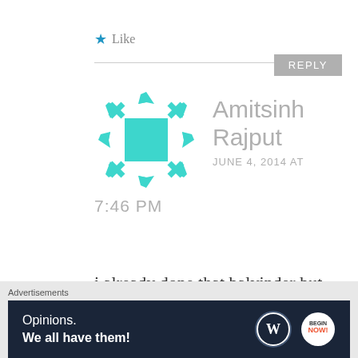★ Like
REPLY
[Figure (illustration): Teal/cyan snowflake-style avatar icon for user Amitsinh Rajput]
Amitsinh Rajput
JUNE 4, 2014 AT 7:46 PM
i already done that balvinder but when i show my mail and get flipkart site then again i
Advertisements
[Figure (screenshot): WordPress advertisement banner: 'Opinions. We all have them!' with WordPress and Now logos on dark navy background]